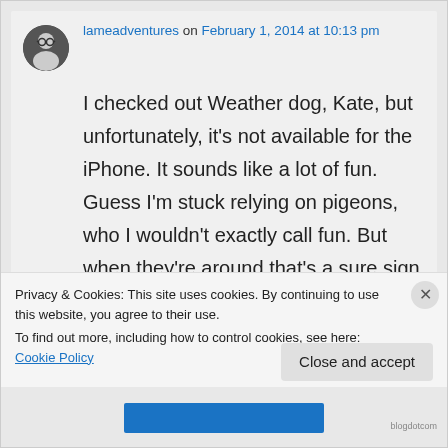lameadventures on February 1, 2014 at 10:13 pm
I checked out Weather dog, Kate, but unfortunately, it’s not available for the iPhone. It sounds like a lot of fun. Guess I’m stuck relying on pigeons, who I wouldn’t exactly call fun. But when they’re around that's a sure sign that it does not feel like the arctic outside.
Privacy & Cookies: This site uses cookies. By continuing to use this website, you agree to their use. To find out more, including how to control cookies, see here: Cookie Policy
Close and accept